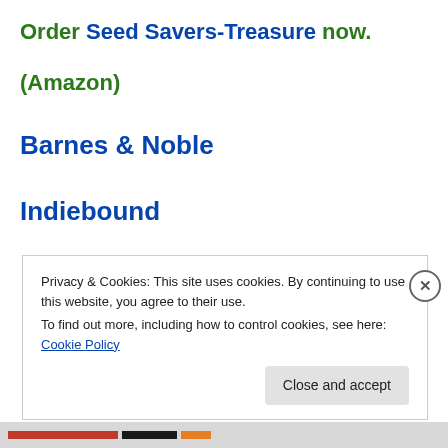Order Seed Savers-Treasure now.
(Amazon)
Barnes & Noble
Indiebound
Privacy & Cookies: This site uses cookies. By continuing to use this website, you agree to their use.
To find out more, including how to control cookies, see here: Cookie Policy
Close and accept